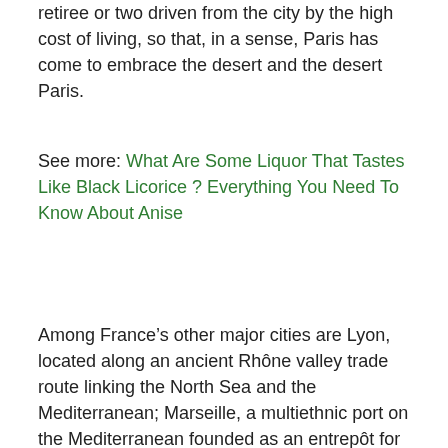retiree or two driven from the city by the high cost of living, so that, in a sense, Paris has come to embrace the desert and the desert Paris.
See more: What Are Some Liquor That Tastes Like Black Licorice ? Everything You Need To Know About Anise
Among France’s other major cities are Lyon, located along an ancient Rhône valley trade route linking the North Sea and the Mediterranean; Marseille, a multiethnic port on the Mediterranean founded as an entrepôt for Greek and Carthaginian traders in the 6th century bce; Nantes, an industrial centre and deepwater harbour along the Atlantic coast; and Bordeaux, located in southwestern France along the Garonne River.